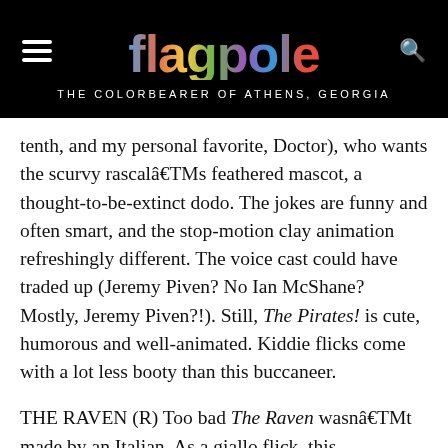flagpole — THE COLORBEARER OF ATHENS, GEORGIA
tenth, and my personal favorite, Doctor), who wants the scurvy rascalâ€TMs feathered mascot, a thought-to-be-extinct dodo. The jokes are funny and often smart, and the stop-motion clay animation refreshingly different. The voice cast could have traded up (Jeremy Piven? No Ian McShane? Mostly, Jeremy Piven?!). Still, The Pirates! is cute, humorous and well-animated. Kiddie flicks come with a lot less booty than this buccaneer.
THE RAVEN (R) Too bad The Raven wasnâ€TMt made by an Italian. As a giallo flick, this fictionalized account of the unknown events surrounding the last week of Edgar Allan Poeâ€TMs life could have been a better match for